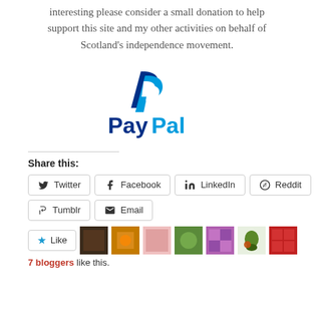interesting please consider a small donation to help support this site and my other activities on behalf of Scotland's independence movement.
[Figure (logo): PayPal logo — blue P icon above bold blue 'PayPal' wordmark]
Share this:
Twitter
Facebook
LinkedIn
Reddit
Tumblr
Email
7 bloggers like this.